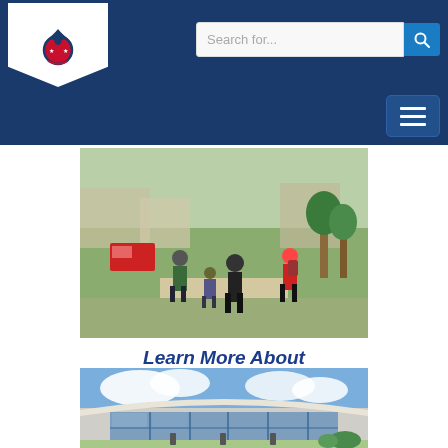[Figure (logo): Boy Scouts of America fleur-de-lis logo in shield shape, white background, blue and red emblem]
[Figure (screenshot): Search bar with placeholder text 'Search for...' and blue search button with magnifying glass icon]
[Figure (screenshot): Hamburger menu button (three horizontal lines) on dark navy background navigation bar]
[Figure (photo): Outdoor scouting activity with adults and children walking on a path, buildings in background, sunny day]
Learn More About Scouting Activities
[Figure (photo): Modern building exterior with large glass windows and curved roof, cloudy sky, paved plaza with bushes]